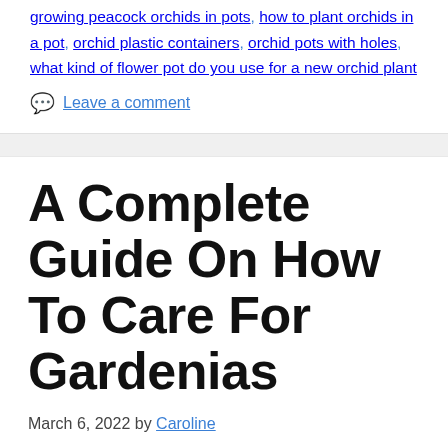growing peacock orchids in pots, how to plant orchids in a pot, orchid plastic containers, orchid pots with holes, what kind of flower pot do you use for a new orchid plant
💬 Leave a comment
A Complete Guide On How To Care For Gardenias
March 6, 2022 by Caroline